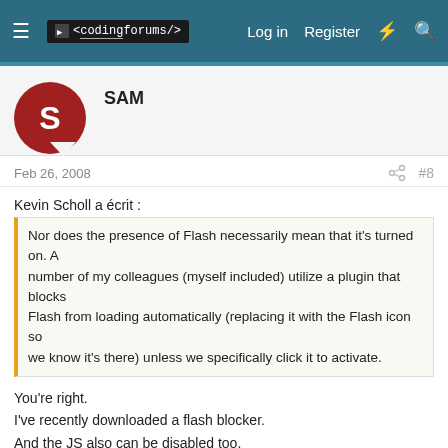≡  <coding forums/>   Log in   Register   ⚡   🔍
SAM
Feb 26, 2008   #8
Kevin Scholl a écrit :
Nor does the presence of Flash necessarily mean that it's turned on. A number of my colleagues (myself included) utilize a plugin that blocks Flash from loading automatically (replacing it with the Flash icon so we know it's there) unless we specifically click it to activate.
You're right.
I've recently downloaded a flash blocker.
And the JS also can be disabled too.

The Net will kill the Net ... :-(